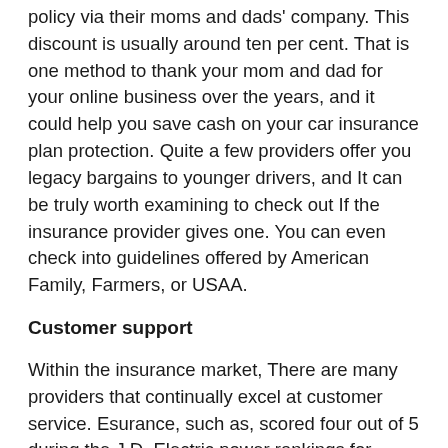policy via their moms and dads' company. This discount is usually around ten per cent. That is one method to thank your mom and dad for your online business over the years, and it could help you save cash on your car insurance plan protection. Quite a few providers offer you legacy bargains to younger drivers, and It can be truly worth examining to check out If the insurance provider gives one. You can even check into guidelines offered by American Family, Farmers, or USAA.
Customer support
Within the insurance market, There are many providers that continually excel at customer service. Esurance, such as, scored four out of 5 during the J.D. Electric power rankings for customer service, a substantial mark for an organization whose father or mother organization will not. The corporate scored better than its competitors in all other spots, which include plan offerings and prices, as well as the top quality of service provided by its Get hold of Heart Associates and